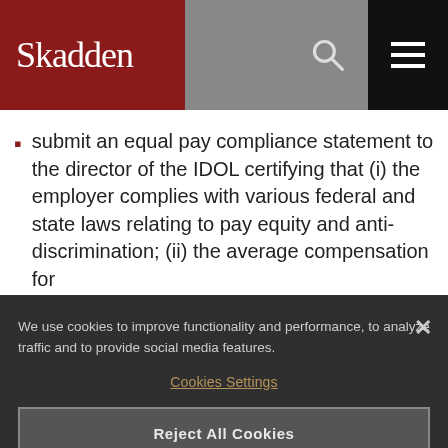Skadden
submit an equal pay compliance statement to the director of the IDOL certifying that (i) the employer complies with various federal and state laws relating to pay equity and anti-discrimination; (ii) the average compensation for
We use cookies to improve functionality and performance, to analyze traffic and to provide social media features.
Cookies Settings
Reject All Cookies
Accept All Cookies